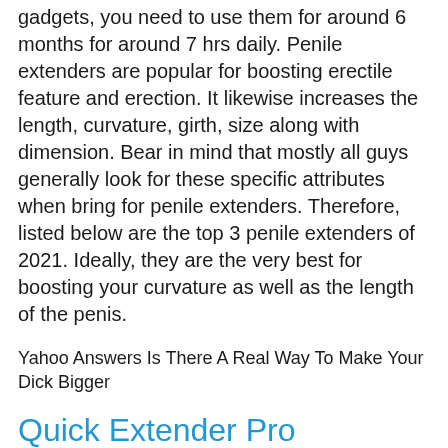gadgets, you need to use them for around 6 months for around 7 hrs daily. Penile extenders are popular for boosting erectile feature and erection. It likewise increases the length, curvature, girth, size along with dimension. Bear in mind that mostly all guys generally look for these specific attributes when bring for penile extenders. Therefore, listed below are the top 3 penile extenders of 2021. Ideally, they are the very best for boosting your curvature as well as the length of the penis.
Yahoo Answers Is There A Real Way To Make Your Dick Bigger
Quick Extender Pro (GUARANTEED TO ADD 3